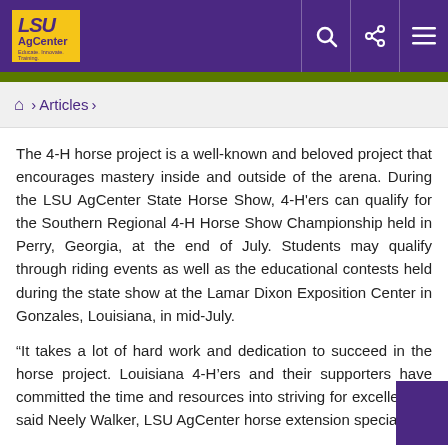LSU AgCenter
Articles
The 4-H horse project is a well-known and beloved project that encourages mastery inside and outside of the arena. During the LSU AgCenter State Horse Show, 4-H'ers can qualify for the Southern Regional 4-H Horse Show Championship held in Perry, Georgia, at the end of July. Students may qualify through riding events as well as the educational contests held during the state show at the Lamar Dixon Exposition Center in Gonzales, Louisiana, in mid-July.
“It takes a lot of hard work and dedication to succeed in the horse project. Louisiana 4-H’ers and their supporters have committed the time and resources into striving for excellence,” said Neely Walker, LSU AgCenter horse extension specialist.